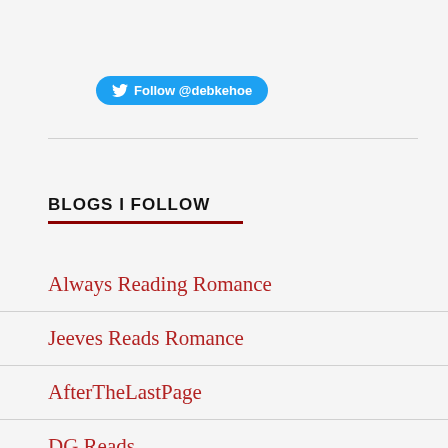[Figure (other): Twitter Follow button with @debkehoe handle]
BLOGS I FOLLOW
Always Reading Romance
Jeeves Reads Romance
AfterTheLastPage
DG Reads
Abi of Pellinor